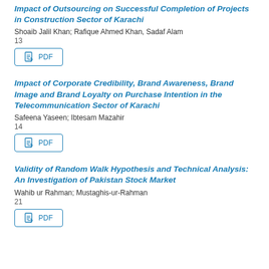Impact of Outsourcing on Successful Completion of Projects in Construction Sector of Karachi
Shoaib Jalil Khan; Rafique Ahmed Khan, Sadaf Alam
13
[Figure (other): PDF download button]
Impact of Corporate Credibility, Brand Awareness, Brand Image and Brand Loyalty on Purchase Intention in the Telecommunication Sector of Karachi
Safeena Yaseen; Ibtesam Mazahir
14
[Figure (other): PDF download button]
Validity of Random Walk Hypothesis and Technical Analysis: An Investigation of Pakistan Stock Market
Wahib ur Rahman; Mustaghis-ur-Rahman
21
[Figure (other): PDF download button]